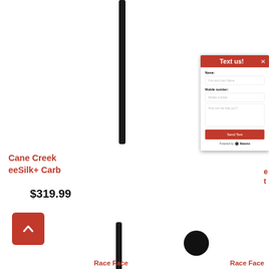[Figure (screenshot): Product listing page background showing a seatpost product with 'Cane Creek eeSilk+ Carb' title, price $319.99, a seatpost image, back-to-top button, and Race Face labels at bottom.]
[Figure (screenshot): Text us modal dialog with red header 'Text us!', close button X, Name field, Mobile number field, How can we help you? textarea, Send Text button, and Powered by Ikeono footer.]